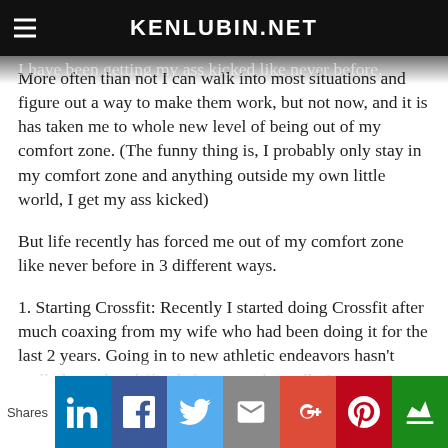KENLUBIN.NET
I have been getting my ass kicked like never before.
More often than not I can walk into most situations and figure out a way to make them work, but not now, and it is has taken me to whole new level of being out of my comfort zone. (The funny thing is, I probably only stay in my comfort zone and anything outside my own little world, I get my ass kicked)
But life recently has forced me out of my comfort zone like never before in 3 different ways.
1. Starting Crossfit: Recently I started doing Crossfit after much coaxing from my wife who had been doing it for the last 2 years. Going in to new athletic endeavors hasn't really been that difficult for me and usually I am up to speed very quickly, but doing Crossfit for the last 45 days
Shares [social share buttons: LinkedIn, Facebook, Twitter, Email, Google+, Pinterest, Crown]